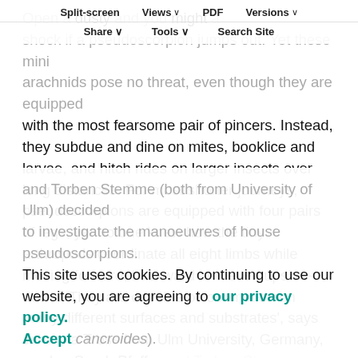Open | Split-screen | Views | PDF | Versions | Share | Tools | Search Site
Open a dusty and you might a shock if a pseudoscorpion jumps out. Yet these mini arachnids pose no threat, even though they are equipped with the most fearsome pair of pincers. Instead, they subdue and dine on mites, booklice and larvae, and hitch rides on larger insects over long distances. For most shorter journeys, pseudoscorpions are equipped with four pairs of legs, yet no one knew how the tiny arthropods coordinate all eight limbs while moving forward, backward and even upside-down. 'They are capable of locomotion on many different surfaces and substrates', says Johanna Tross from Ulm University, Germany, so she, Sarah Pfeffer and Torben Stemme (both from University of Ulm) decided to investigate the manoeuvres of house pseudoscorpions (cancroides).
This site uses cookies. By continuing to use our website, you are agreeing to our privacy policy.
Accept